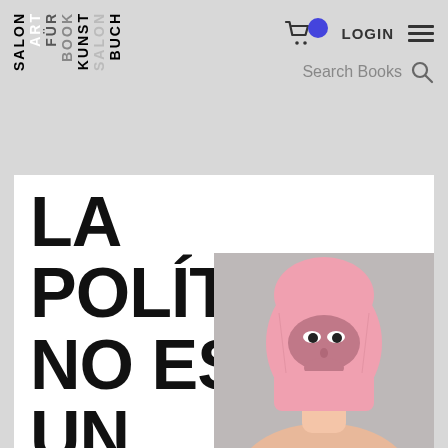SALON ART FÜR BOOK KUNST SALON BUCH — LOGIN — Search Books — cart icon — hamburger menu
LA POLÍTICA NO ES UN PLÁTANO
[Figure (photo): Person wearing a pink balaclava/ski mask over their face, bare shoulders visible, against a light grey background. The figure occupies the lower right portion of the book cover.]